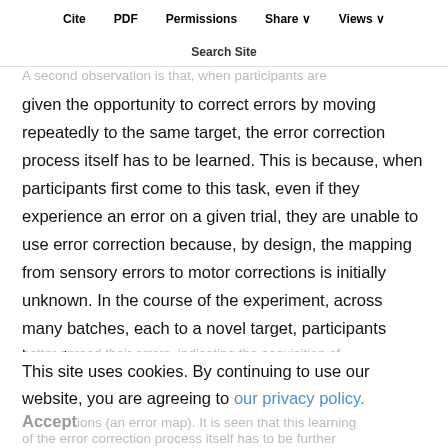Cite  PDF  Permissions  Share  Views
Search Site
which information about movements and their sensory consequences is progressively accumulated. A second observation is that, when participants are given the opportunity to correct errors by moving repeatedly to the same target, the error correction process itself has to be learned. This is because, when participants first come to this task, even if they experience an error on a given trial, they are unable to use error correction because, by design, the mapping from sensory errors to motor corrections is initially unknown. In the course of the experiment, across many batches, each to a novel target, participants learn to better spread their errors, indicating the acquisition of a mapping from sensory outcomes to correct motor corrections (an error map). It is seen that this learning of the error correction process itself has to be further learned.
This site uses cookies. By continuing to use our website, you are agreeing to our privacy policy. Accept